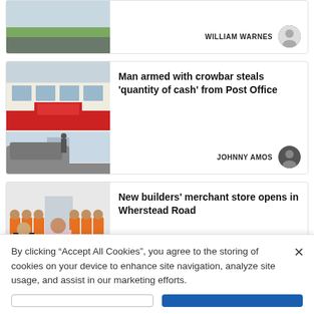[Figure (photo): Partial view of a road/car park with grass area, top of card partially visible]
WILLIAM WARNES
[Figure (photo): Photo of a Post Office / One Stop shop exterior with red signage and a car parked outside]
Man armed with crowbar steals 'quantity of cash' from Post Office
JOHNNY AMOS
[Figure (photo): Group photo of workers in orange hi-vis vests standing outside a building]
New builders' merchant store opens in Wherstead Road
By clicking "Accept All Cookies", you agree to the storing of cookies on your device to enhance site navigation, analyze site usage, and assist in our marketing efforts.